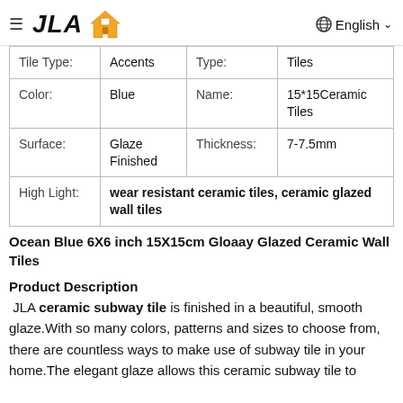≡ JLA 🏠   English ∨
| Tile Type: | Accents | Type: | Tiles |
| --- | --- | --- | --- |
| Color: | Blue | Name: | 15*15Ceramic Tiles |
| Surface: | Glaze Finished | Thickness: | 7-7.5mm |
| High Light: | wear resistant ceramic tiles, ceramic glazed wall tiles |  |  |
Ocean Blue 6X6 inch 15X15cm Gloaay Glazed Ceramic Wall Tiles
Product Description
JLA ceramic subway tile is finished in a beautiful, smooth glaze.With so many colors, patterns and sizes to choose from, there are countless ways to make use of subway tile in your home.The elegant glaze allows this ceramic subway tile to